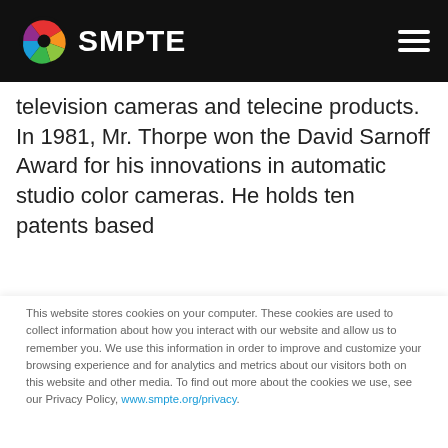SMPTE
television cameras and telecine products. In 1981, Mr. Thorpe won the David Sarnoff Award for his innovations in automatic studio color cameras. He holds ten patents based
This website stores cookies on your computer. These cookies are used to collect information about how you interact with our website and allow us to remember you. We use this information in order to improve and customize your browsing experience and for analytics and metrics about our visitors both on this website and other media. To find out more about the cookies we use, see our Privacy Policy, www.smpte.org/privacy.
If you opt out of this tracking, a cookie will be set in your browser to remember your preference not to be tracked, and we will only use non-personally identifiable cookies strictly necessary for your SMPTE site experience.
Accept
Decline